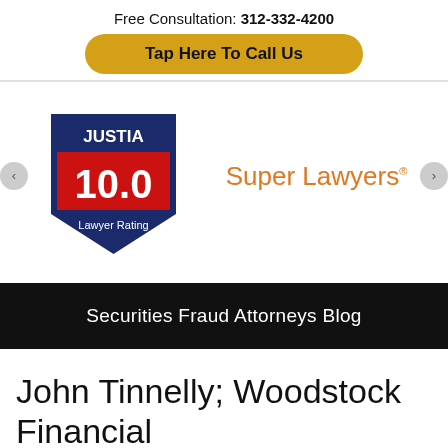Free Consultation: 312-332-4200
Tap Here To Call Us
[Figure (logo): Justia 10.0 Lawyer Rating badge — dark blue shield shape with 'JUSTIA' in white text at top, '10.0' in large red text in the center, and 'Lawyer Rating' in white text at bottom]
[Figure (logo): Super Lawyers logo in orange text with trademark symbol]
Securities Fraud Attorneys Blog
John Tinnelly; Woodstock Financial